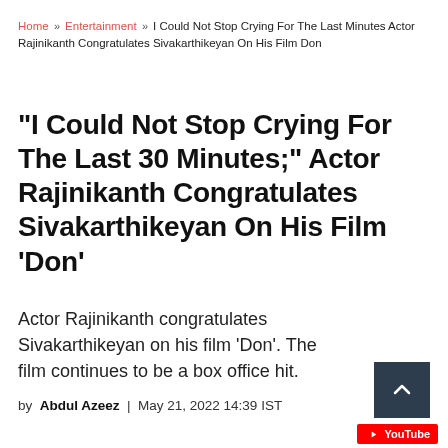Home » Entertainment » I Could Not Stop Crying For The Last Minutes Actor Rajinikanth Congratulates Sivakarthikeyan On His Film Don
“I Could Not Stop Crying For The Last 30 Minutes;” Actor Rajinikanth Congratulates Sivakarthikeyan On His Film ‘Don’
Actor Rajinikanth congratulates Sivakarthikeyan on his film ‘Don’. The film continues to be a box office hit.
by Abdul Azeez | May 21, 2022 14:39 IST